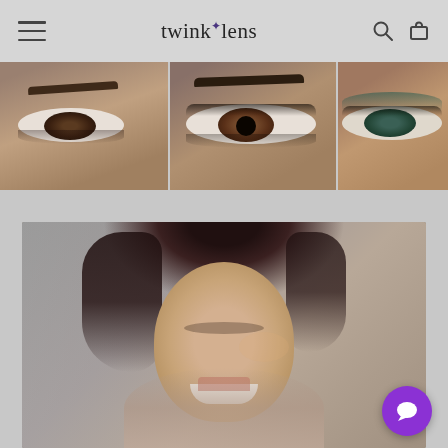twinklens - navigation header with hamburger menu, logo, search and cart icons
[Figure (photo): Horizontal banner showing a mosaic of three close-up eyes with different makeup styles and skin tones]
[Figure (photo): Portrait photo of a smiling young woman with dark hair looking down, in a gray-toned indoor setting]